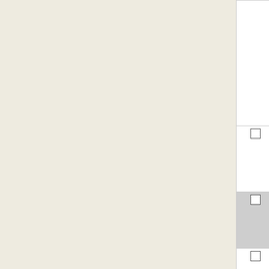|  | Accession | Gene | Description |
| --- | --- | --- | --- |
| ☐ | NC_008554 | Sfum_1173 | 4Fe-4S ferredoxin iron-sulfur binding domain-containing protein |
| ☐ | NC_013926 | Aboo_0977 | FAD-dependent pyridine nucleotide-disulfide oxidoreductase |
| ☐ | NC_013216 | Dtox_1379 | 4Fe-4S ferredoxin iron-sulfur binding domain protein |
| ☐ | NC_013223 | Dret_2260 | methyl-viologen-reducing hydrogenase delta subunit |
| ☐ | NC_009253 | Dred_1327 | 4Fe-4S ferredoxin iron-sulfur binding domain-containing protein |
| ☐ | NC_009943 | Dole_1000 | methyl-viologen-reducing hydrogenase |